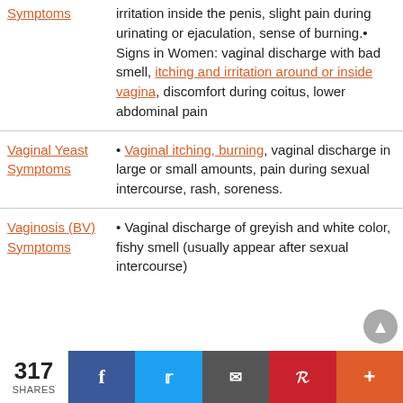| Symptoms | irritation inside the penis, slight pain during urinating or ejaculation, sense of burning.• Signs in Women: vaginal discharge with bad smell, itching and irritation around or inside vagina, discomfort during coitus, lower abdominal pain |
| Vaginal Yeast Symptoms | • Vaginal itching, burning, vaginal discharge in large or small amounts, pain during sexual intercourse, rash, soreness. |
| Vaginosis (BV) Symptoms | • Vaginal discharge of greyish and white color, fishy smell (usually appear after sexual intercourse) |
317 SHARES | Facebook | Twitter | Email | Pinterest | More